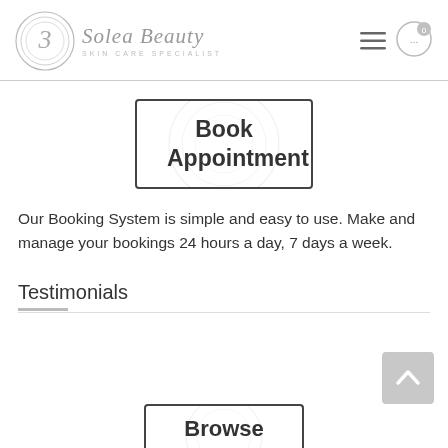[Figure (logo): Solea Beauty Skin Care Specialist logo with circular decorative emblem containing stylized '3' and script text]
[Figure (other): Hamburger menu icon (three horizontal lines) and shopping cart icon with badge showing '0']
[Figure (other): Book Appointment button with decorative circular watermark background, bold text reading 'Book Appointment']
Our Booking System is simple and easy to use. Make and manage your bookings 24 hours a day, 7 days a week.
Testimonials
[Figure (other): Scroll-to-top button (upward chevron arrow on grey background)]
[Figure (other): Browse button partially visible at bottom with decorative circular watermark background]